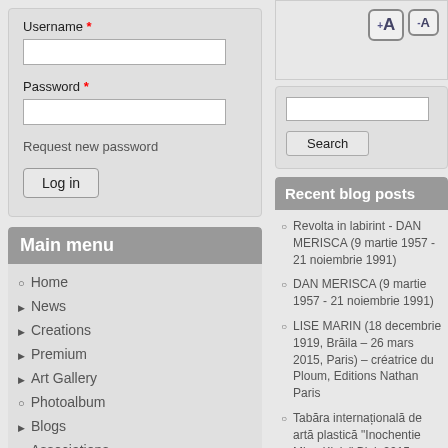Username *
Password *
Request new password
Log in
Main menu
Home
News
Creations
Premium
Art Gallery
Photoalbum
Blogs
Associations
[Figure (screenshot): Font size increase/decrease buttons (+A and -A)]
Search
Recent blog posts
Revolta in labirint - DAN MERISCA (9 martie 1957 - 21 noiembrie 1991)
DAN MERISCA (9 martie 1957 - 21 noiembrie 1991)
LISE MARIN (18 decembrie 1919, Brăila – 26 mars 2015, Paris) – créatrice du Ploum, Editions Nathan Paris
Tabăra internațională de artă plastică "Inochentie Micu-Klein" Blaj, 2015, Editia a XIX-a
Comme en poésie, Revue trimestrielle de poésie, H...